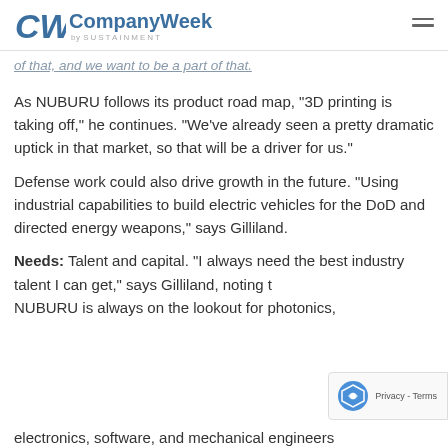CompanyWeek by SUSTAINMENT
of that, and we want to be a part of that.
As NUBURU follows its product road map, "3D printing is taking off," he continues. "We've already seen a pretty dramatic uptick in that market, so that will be a driver for us."
Defense work could also drive growth in the future. "Using industrial capabilities to build electric vehicles for the DoD and directed energy weapons," says Gilliland.
Needs: Talent and capital. "I always need the best industry talent I can get," says Gilliland, noting that NUBURU is always on the lookout for photonics, electronics, software, and mechanical engineers